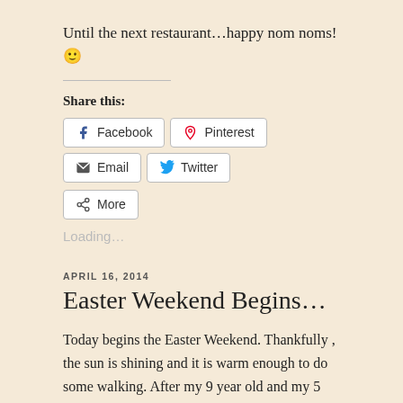Until the next restaurant…happy nom noms! 🙂
Share this:
Facebook  Pinterest  Email  Twitter  More
Loading…
APRIL 16, 2014
Easter Weekend Begins…
Today begins the Easter Weekend.  Thankfully , the sun is shining and it is warm enough to do some walking.  After my 9 year old and my 5 year old were done eating their after school snack of apples; I brought out my packs of stickers and construction paper and told them to make